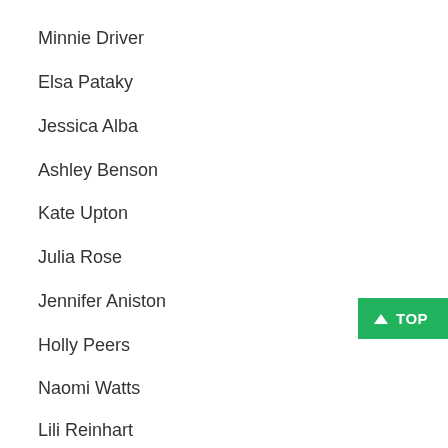Minnie Driver
Elsa Pataky
Jessica Alba
Ashley Benson
Kate Upton
Julia Rose
Jennifer Aniston
Holly Peers
Naomi Watts
Lili Reinhart